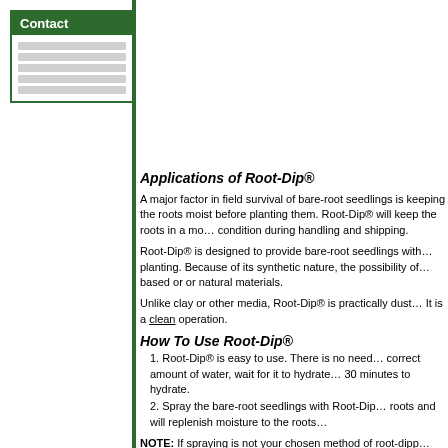[Figure (screenshot): Navigation panel with green 'Contact' header and grey placeholder lines below]
Applications of Root-Dip®
A major factor in field survival of bare-root seedlings is keeping the roots moist before planting them. Root-Dip® will keep the roots in a moist condition during handling and shipping.
Root-Dip® is designed to provide bare-root seedlings with the moisture they need before planting. Because of its synthetic nature, the possibility of disease transmission is less than clay based or or natural materials.
Unlike clay or other media, Root-Dip® is practically dust free and very lightweight to use. It is a clean operation.
How To Use Root-Dip®
Root-Dip® is easy to use. There is no need to pre-mix. Simply add the correct amount of water, wait for it to hydrate. It will take approximately 30 minutes to hydrate.
Spray the bare-root seedlings with Root-Dip®. The product will coat the roots and will replenish moisture to the roots.
NOTE: If spraying is not your chosen method of root-dipping, you can also apply the slurry to your seedlings. For example, dip the bare roots in the gel slurry, allow the gel to adhere to the roots, and then plant.
Rate Of Application
Use 3 lbs. of Root-Dip® per 100 gallons of water. You can adjust for your specific needs by adding small amounts of product or water to your slurry.